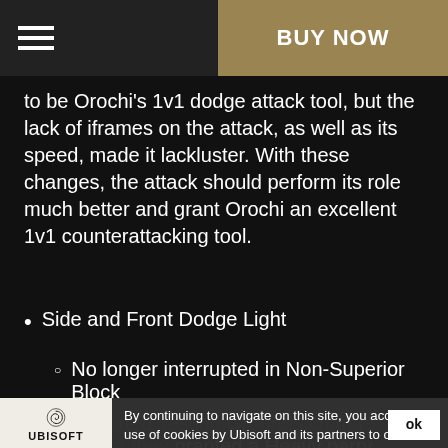BUY NOW
to be Orochi's 1v1 dodge attack tool, but the lack of iframes on the attack, as well as its speed, made it lackluster. With these changes, the attack should perform its role much better and grant Orochi an excellent 1v1 counterattacking tool.
Side and Front Dodge Light
No longer interrupted in Non-Superior Block
Reverted Testing Grounds change where they granted a Heavy parry reaction
Developer's Comment: Zephyr Strikes were underperforming in group fights, as well as against heroes with low feats. Previously, Zephyr Strikes were interrupted on block, lowering Orochi's potential as the hero's offense was easily stopped. With these changes,
By continuing to navigate on this site, you accept the use of cookies by Ubisoft and its partners to offer advertising adapted to your interests, collect visit statistics and allow you to use the social network share buttons. To learn more and set your cookies.